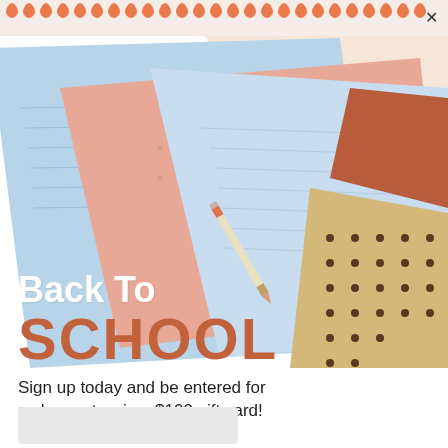[Figure (illustration): Spiral notebook header bar with orange coil rings at top, with an X close button at top right. Background shows colorful notebooks/notepads fanned out in light blue, peach/salmon, tan with brown dots, and terracotta/rust colors, with a pencil visible, on a white background.]
Back To SCHOOL
Sign up today and be entered for a chance to win a $100 gift card!